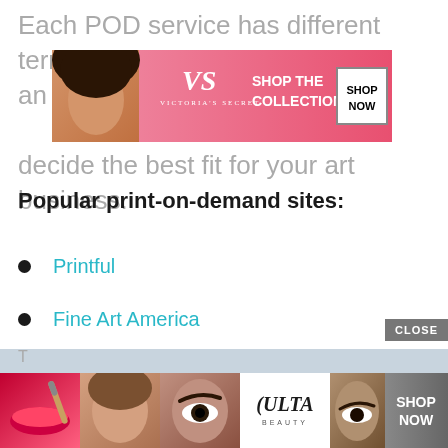Each POD service has different terms and to decide the best fit for your art business.
[Figure (other): Victoria's Secret advertisement banner with model, VS logo, 'SHOP THE COLLECTION' text and 'SHOP NOW' button]
Popular print-on-demand sites:
Printful
Fine Art America
Society6
[Figure (other): Ulta Beauty advertisement banner with makeup model photos, Ulta logo, and 'SHOP NOW' button with 'CLOSE' button above]
T